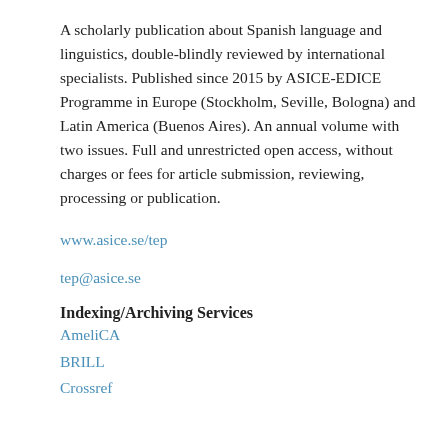A scholarly publication about Spanish language and linguistics, double-blindly reviewed by international specialists. Published since 2015 by ASICE-EDICE Programme in Europe (Stockholm, Seville, Bologna) and Latin America (Buenos Aires). An annual volume with two issues. Full and unrestricted open access, without charges or fees for article submission, reviewing, processing or publication.
www.asice.se/tep
tep@asice.se
Indexing/Archiving Services
AmeliCA
BRILL
Crossref